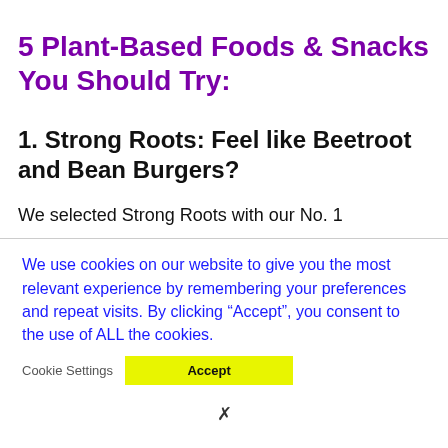5 Plant-Based Foods & Snacks You Should Try:
1. Strong Roots: Feel like Beetroot and Bean Burgers?
We selected Strong Roots with our No. 1
We use cookies on our website to give you the most relevant experience by remembering your preferences and repeat visits. By clicking “Accept”, you consent to the use of ALL the cookies.
Cookie Settings  Accept